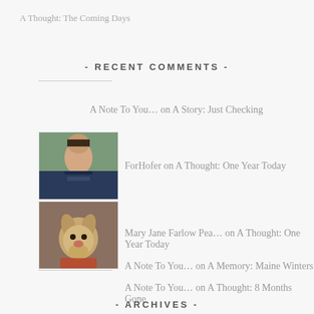A Thought: The Coming Days
- RECENT COMMENTS -
A Note To You… on A Story: Just Checking
[Figure (photo): Officer in uniform avatar photo]
ForHofer on A Thought: One Year Today
[Figure (photo): Dog avatar photo]
Mary Jane Farlow Pea… on A Thought: One Year Today
A Note To You… on A Memory: Maine Winters
A Note To You… on A Thought: 8 Months Gone
- ARCHIVES -